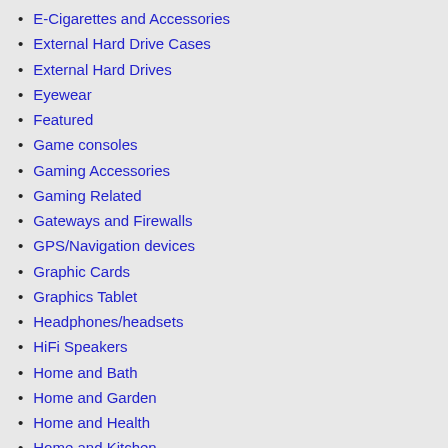E-Cigarettes and Accessories
External Hard Drive Cases
External Hard Drives
Eyewear
Featured
Game consoles
Gaming Accessories
Gaming Related
Gateways and Firewalls
GPS/Navigation devices
Graphic Cards
Graphics Tablet
Headphones/headsets
HiFi Speakers
Home and Bath
Home and Garden
Home and Health
Home and Kitchen
Home and Pet
Home and Security – Protection
Home Improvement